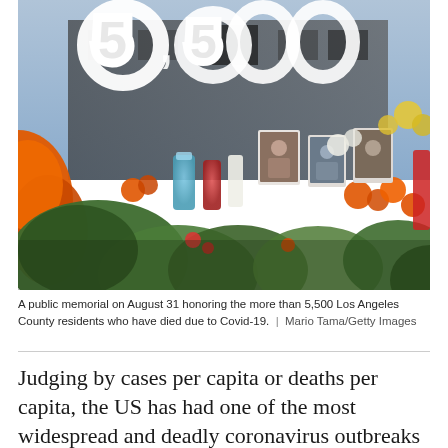[Figure (photo): A public memorial display with flower wreaths shaped as numbers (5,500), candles, photographs of deceased individuals, and colorful flowers including orange marigolds and red flowers, honoring Los Angeles County residents who died due to Covid-19.]
A public memorial on August 31 honoring the more than 5,500 Los Angeles County residents who have died due to Covid-19. | Mario Tama/Getty Images
Judging by cases per capita or deaths per capita, the US has had one of the most widespread and deadly coronavirus outbreaks in the developed world, with policy response rates significantly worse than